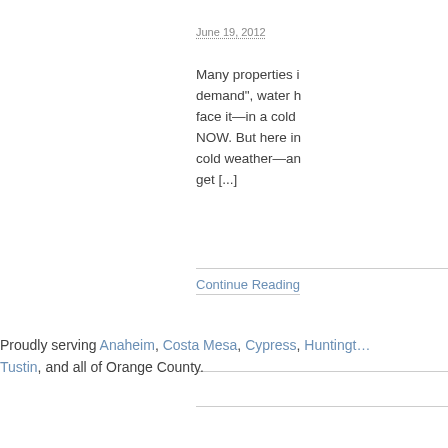June 19, 2012
Many properties i... demand", water h... face it—in a cold ... NOW. But here in... cold weather—an... get [...]
Continue Reading
Proudly serving Anaheim, Costa Mesa, Cypress, Huntington..., Tustin, and all of Orange County.